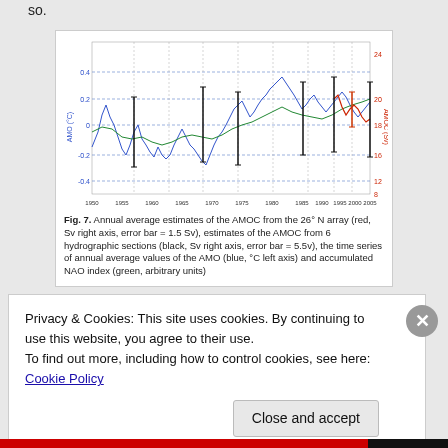so.
[Figure (continuous-plot): Annual average estimates of the AMOC from the 26°N array (red, Sv right axis, error bar = 1.5 Sv), estimates of the AMOC from 6 hydrographic sections (black, Sv right axis, error bar = 5.5v), the time series of annual average values of the AMO (blue, °C left axis) and accumulated NAO index (green, arbitrary units). Time axis spans approximately 1950 to 2010.]
Fig. 7. Annual average estimates of the AMOC from the 26° N array (red, Sv right axis, error bar = 1.5 Sv), estimates of the AMOC from 6 hydrographic sections (black, Sv right axis, error bar = 5.5v), the time series of annual average values of the AMO (blue, °C left axis) and accumulated NAO index (green, arbitrary units)
Privacy & Cookies: This site uses cookies. By continuing to use this website, you agree to their use.
To find out more, including how to control cookies, see here: Cookie Policy